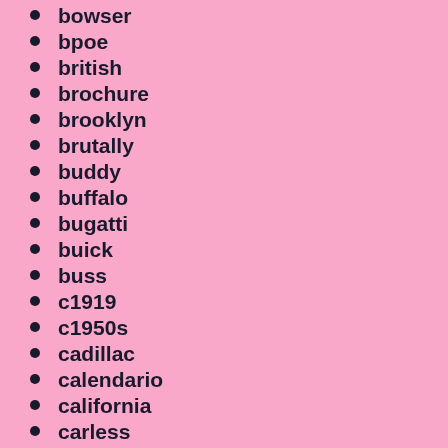bowser
bpoe
british
brochure
brooklyn
brutally
buddy
buffalo
bugatti
buick
buss
c1919
c1950s
cadillac
calendario
california
carless
cars
carter